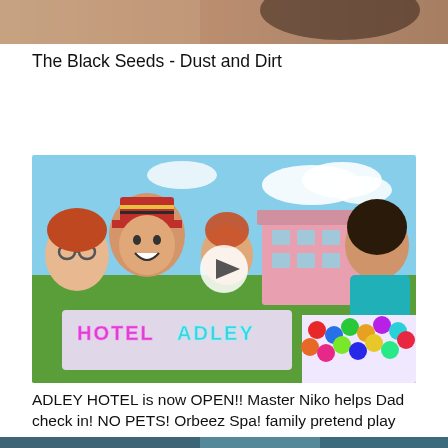[Figure (photo): Partial top of a photo showing colorful content, cropped at top of page]
The Black Seeds - Dust and Dirt
[Figure (photo): YouTube video thumbnail showing family pretend play at Hotel Adley. Features a child in a bellhop hat, a woman with glasses, a young girl, and a man in a teal shirt sitting in a colorful ball pit. Pink building in background. 'HOTEL ADLEY' text in neon pink. Play button overlay in center.]
ADLEY HOTEL is now OPEN!! Master Niko helps Dad check in! NO PETS! Orbeez Spa! family pretend play
[Figure (photo): Bottom partial photo showing teal/blue toned content, cropped at bottom of page]